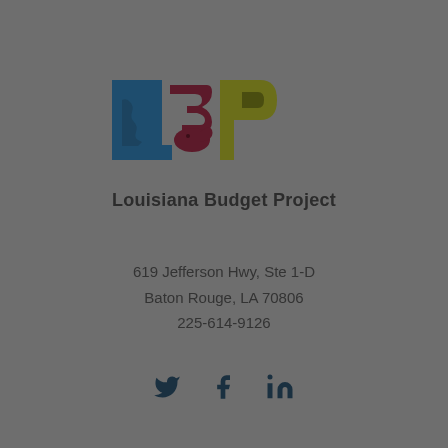[Figure (logo): Louisiana Budget Project logo with stylized L3P letters in blue, dark red, and olive green colors with Louisiana state silhouette]
Louisiana Budget Project
619 Jefferson Hwy, Ste 1-D
Baton Rouge, LA 70806
225-614-9126
[Figure (illustration): Social media icons: Twitter bird, Facebook f, LinkedIn in]
Site by COVALENT LOGIC